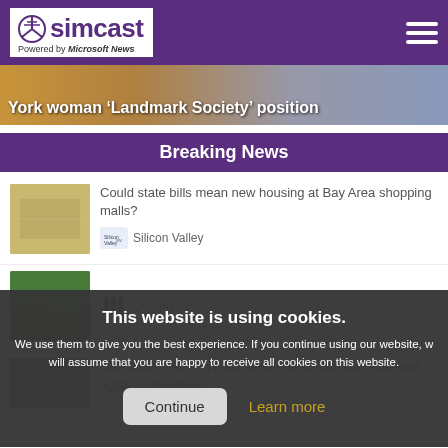simcast — Powered by Microsoft News
[Figure (photo): Partial hero image with text overlay: York woman 'Landmark Society' position]
Breaking News
[Figure (photo): Thumbnail for housing article]
Could state bills mean new housing at Bay Area shopping malls?
Silicon Valley
This website is using cookies. We use them to give you the best experience. If you continue using our website, we will assume that you are happy to receive all cookies on this website.
Continue
Learn more
[Figure (photo): Thumbnail for outdoor article]
Outdoor Life
[Figure (photo): Thumbnail for politics article]
OnPolitics: DOJ lays out strongest obstruction evidence against Trump yet